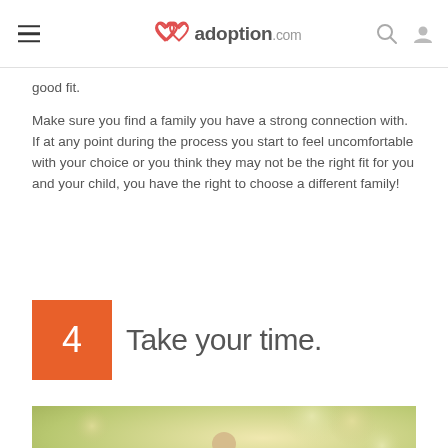adoption.com
good fit.
Make sure you find a family you have a strong connection with. If at any point during the process you start to feel uncomfortable with your choice or you think they may not be the right fit for you and your child, you have the right to choose a different family!
4 Take your time.
[Figure (photo): A child bending over outdoors, in a soft-focus garden or park setting with blurred green foliage in the background.]